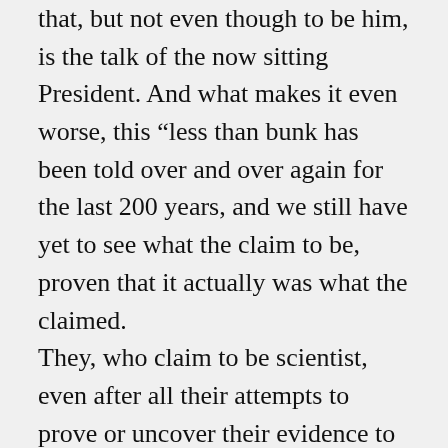that, but not even though to be him, is the talk of the now sitting President. And what makes it even worse, this “less than bunk has been told over and over again for the last 200 years, and we still have yet to see what the claim to be, proven that it actually was what the claimed. They, who claim to be scientist, even after all their attempts to prove or uncover their evidence to support what they have “faith” in, reject the one explanation that makes the most sense. That explains the end results without any kind or reservations. They will go so far as to say that maybe, life came from a different planet, (still leaving them to have to explain how life arrived at the planet before it came to this one), yea I know, they walked